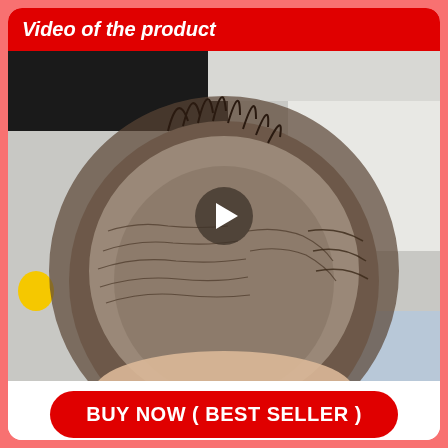Video of the product
[Figure (photo): Top-down view of a person's head showing thinning/balding hair pattern, with a play button overlay indicating a product video]
BUY NOW ( BEST SELLER )